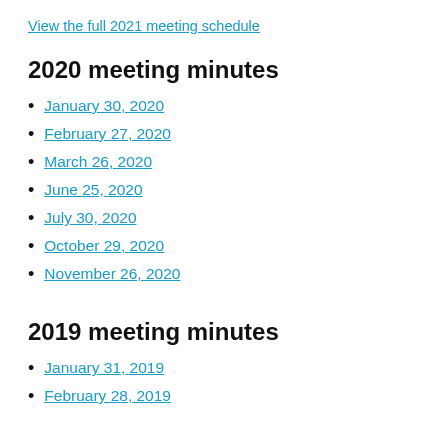View the full 2021 meeting schedule
2020 meeting minutes
January 30, 2020
February 27, 2020
March 26, 2020
June 25, 2020
July 30, 2020
October 29, 2020
November 26, 2020
2019 meeting minutes
January 31, 2019
February 28, 2019